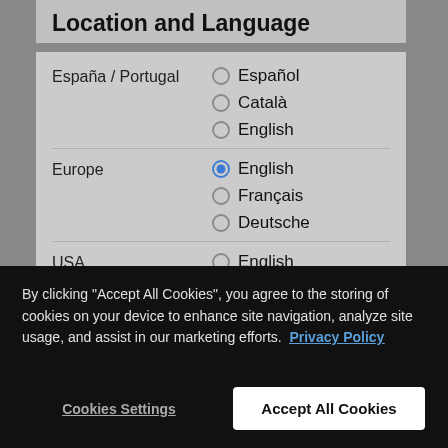Location and Language
España / Portugal — Español, Català, English (radio buttons, none selected)
Europe — English (selected), Français, Deutsche (radio buttons, English selected)
USA — English, Español (partial, cut off)
By clicking "Accept All Cookies", you agree to the storing of cookies on your device to enhance site navigation, analyze site usage, and assist in our marketing efforts.  Privacy Policy
Cookies Settings
Accept All Cookies